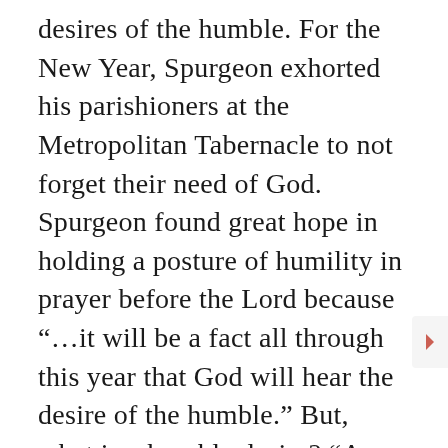desires of the humble. For the New Year, Spurgeon exhorted his parishioners at the Metropolitan Tabernacle to not forget their need of God. Spurgeon found great hope in holding a posture of humility in prayer before the Lord because “…it will be a fact all through this year that God will hear the desire of the humble.” But, what is a humble desire? “A humble desire,” Charles stated, “is one which leaves everything in God’s hands.” But, the deeper reality experienced by the humble, whom the Lord hears, is that the Lord “wil